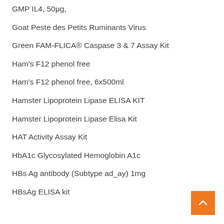GMP IL4, 50μg,
Goat Peste des Petits Ruminants Virus
Green FAM-FLICA® Caspase 3 & 7 Assay Kit
Ham's F12 phenol free
Ham's F12 phenol free, 6x500ml
Hamster Lipoprotein Lipase ELISA KIT
Hamster Lipoprotein Lipase Elisa Kit
HAT Activity Assay Kit
HbA1c Glycosylated Hemoglobin A1c
HBs Ag antibody (Subtype ad_ay) 1mg
HBsAg ELISA kit